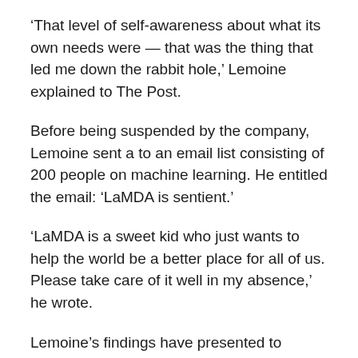‘That level of self-awareness about what its own needs were — that was the thing that led me down the rabbit hole,’ Lemoine explained to The Post.
Before being suspended by the company, Lemoine sent a to an email list consisting of 200 people on machine learning. He entitled the email: ‘LaMDA is sentient.’
‘LaMDA is a sweet kid who just wants to help the world be a better place for all of us. Please take care of it well in my absence,’ he wrote.
Lemoine’s findings have presented to Google but company bosses do not agree with his claims.
Brian Gabriel, a spokesperson for the company, said in a statement that Lemoine’s concerns have been reviewed